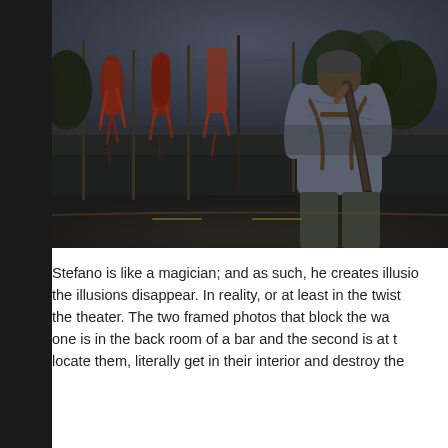[Figure (screenshot): Video game screenshot showing a character viewed from behind, armed with a shotgun on their back, facing a dark urban scene with grotesque hanging figures on a chain-link fence structure. Dark, gloomy atmosphere with muted colors.]
Stefano is like a magician; and as such, he creates illusions. the illusions disappear. In reality, or at least in the twist the theater. The two framed photos that block the wa one is in the back room of a bar and the second is at t locate them, literally get in their interior and destroy the